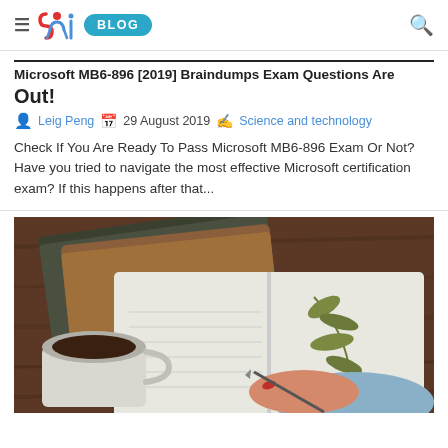≡ SMi BLOG 🔍
Microsoft MB6-896 [2019] Braindumps Exam Questions Are Out!
Leig Peng  29 August 2019  Science and technology
Check If You Are Ready To Pass Microsoft MB6-896 Exam Or Not?Have you tried to navigate the most effective Microsoft certification exam? If this happens after that...
[Figure (photo): Person writing in an open notebook with pressed leaves, a cup of coffee/tea, and stacked notebooks on a wooden table]